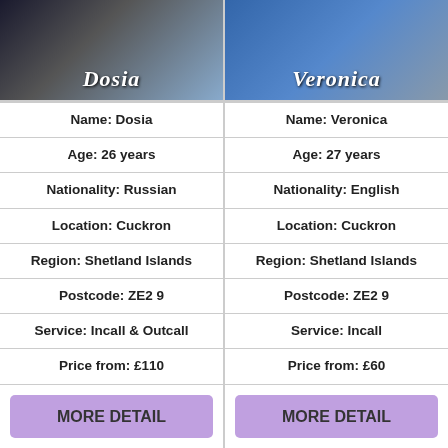[Figure (photo): Photo of Dosia with name overlay]
[Figure (photo): Photo of Veronica with name overlay]
| Dosia | Veronica |
| --- | --- |
| Name: Dosia | Name: Veronica |
| Age: 26 years | Age: 27 years |
| Nationality: Russian | Nationality: English |
| Location: Cuckron | Location: Cuckron |
| Region: Shetland Islands | Region: Shetland Islands |
| Postcode: ZE2 9 | Postcode: ZE2 9 |
| Service: Incall & Outcall | Service: Incall |
| Price from: £110 | Price from: £60 |
| MORE DETAIL | MORE DETAIL |
[Figure (photo): Photo of a person with blue background]
[Figure (photo): Photo of a person with dark hair]